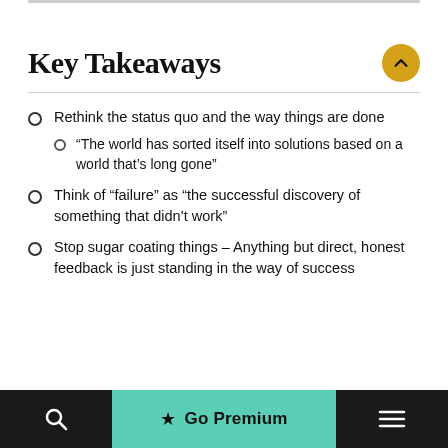Key Takeaways
Rethink the status quo and the way things are done
“The world has sorted itself into solutions based on a world that’s long gone”
Think of “failure” as “the successful discovery of something that didn’t work”
Stop sugar coating things – Anything but direct, honest feedback is just standing in the way of success
Go Premium